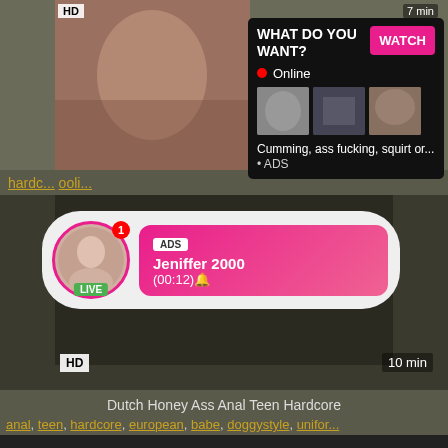[Figure (screenshot): Adult video thumbnail with HD badge and 7 min duration, with overlay ad popup showing 'WHAT DO YOU WANT? WATCH' button, Online status, thumbnail previews, and text 'Cumming, ass fucking, squirt or... • ADS']
hard... ooli...
[Figure (screenshot): Adult video thumbnail (dark) with live chat bubble overlay showing ADS label, 'Jeniffer 2000' name, '(00:12)' time, LIVE badge, avatar with notification badge '1', HD badge and 10 min duration]
Dutch Honey Ass Anal Teen Hardcore
anal, teen, hardcore, european, babe, doggystyle, unifor...
[Figure (screenshot): Dark video thumbnail strip at bottom of page]